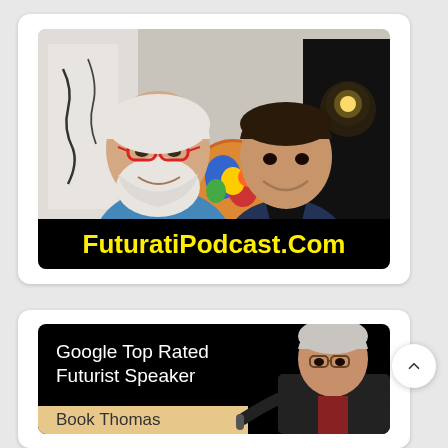[Figure (photo): Two men smiling in front of artwork on walls. Older man with white beard and red glasses on left, wearing blue shirt. Younger man on right. Black banner at bottom with yellow bold text: FuturatiPodcast.Com]
[Figure (photo): Promotional image with black background. Older man with white beard and glasses in dark suit on right side gesturing. White text on left: 'Google Top Rated Futurist Speaker'. Light tan banner at bottom with text: 'Book Thomas']